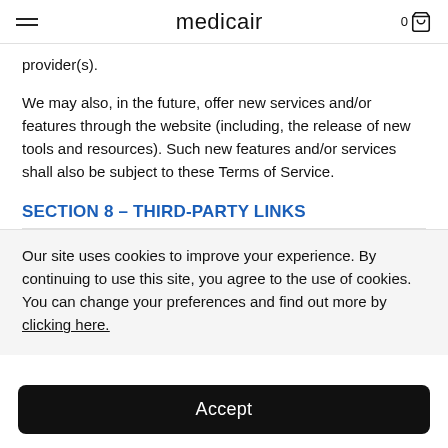medicair
provider(s).
We may also, in the future, offer new services and/or features through the website (including, the release of new tools and resources). Such new features and/or services shall also be subject to these Terms of Service.
SECTION 8 – THIRD-PARTY LINKS
Our site uses cookies to improve your experience. By continuing to use this site, you agree to the use of cookies. You can change your preferences and find out more by clicking here.
Accept